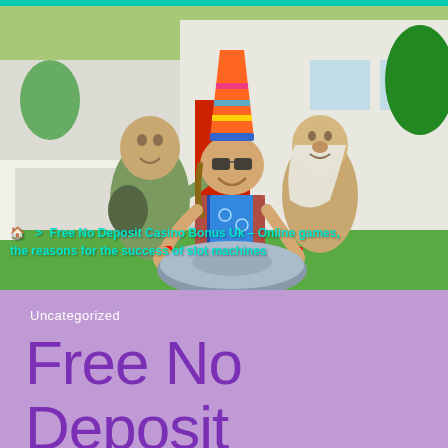[Figure (photo): A woman wearing sunglasses and a colorful striped tall hat, a patterned vest, sitting between two troll/gnome statues in front of a red-doored white house with green lawn. She is playing a hang drum/handpan instrument.]
🏠 > Free No Deposit Casino Bonus Uk - Online games, the reasons for the success of slot machines
Uncategorized
Free No Deposit